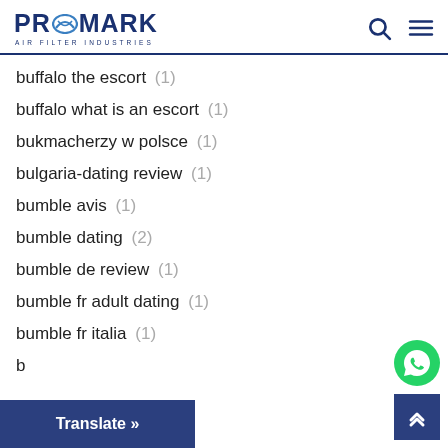PROMARK AIR FILTER INDUSTRIES
buffalo the escort (1)
buffalo what is an escort (1)
bukmacherzy w polsce (1)
bulgaria-dating review (1)
bumble avis (1)
bumble dating (2)
bumble de review (1)
bumble fr adult dating (1)
bumble fr italia (1)
b…